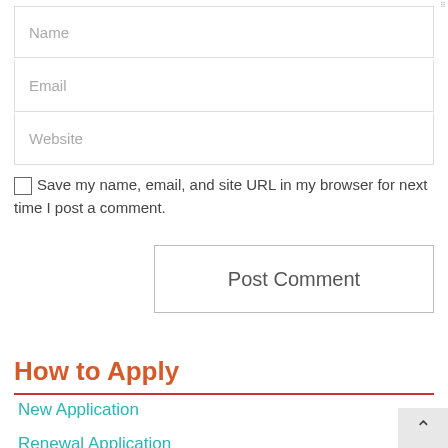Name
Email
Website
Save my name, email, and site URL in my browser for next time I post a comment.
Post Comment
How to Apply
New Application
Renewal Application